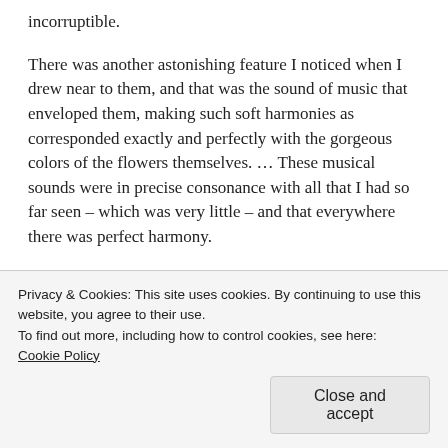incorruptible.
There was another astonishing feature I noticed when I drew near to them, and that was the sound of music that enveloped them, making such soft harmonies as corresponded exactly and perfectly with the gorgeous colors of the flowers themselves. … These musical sounds were in precise consonance with all that I had so far seen – which was very little – and that everywhere there was perfect harmony.
Already I was conscious of the revitalizing effect of the heavenly garden to such an extent that I was anxious to see more of it. … I walked the garden paths, trod upon the…
Privacy & Cookies: This site uses cookies. By continuing to use this website, you agree to their use.
To find out more, including how to control cookies, see here:
Cookie Policy
Close and accept